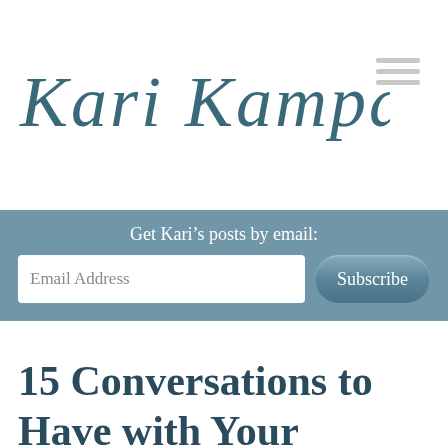Kari Kampakis
Get Kari's posts by email:
Email Address
Subscribe
15 Conversations to Have with Your Teenage